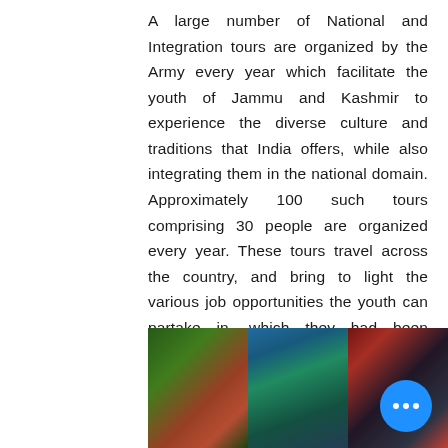A large number of National and Integration tours are organized by the Army every year which facilitate the youth of Jammu and Kashmir to experience the diverse culture and traditions that India offers, while also integrating them in the national domain. Approximately 100 such tours comprising 30 people are organized every year. These tours travel across the country, and bring to light the various job opportunities the youth can partake in, which they had been unaware of in their conflict ridden homes.
[Figure (photo): Three photos arranged in a horizontal strip at the bottom: (1) People near a small red aircraft on a grass field, (2) Group of people posing under an 'Army Bangalore' blue tent/canopy, (3) Group of youth/cadets in formal setting with red backdrop]